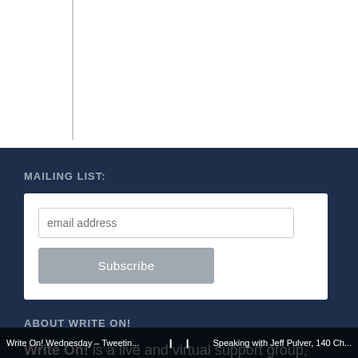[Figure (other): White top section with a vertical gray line on the left side]
MAILING LIST:
[Figure (other): White form box containing an email address input field and a Subscribe button]
ABOUT WRITE ON!
Write On! is a live and virtual support group, focusing on goal setting, troubleshooting and networking, for writers, creatives, and entrepreneurs. This group helps
Write On! Wednesday – Tweetin...  ❙  ❙  Speaking with Jeff Pulver, 140 Ch...